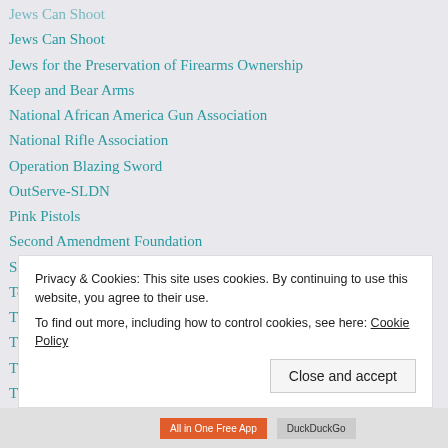Jews Can Shoot
Jews for the Preservation of Firearms Ownership
Keep and Bear Arms
National African America Gun Association
National Rifle Association
Operation Blazing Sword
OutServe-SLDN
Pink Pistols
Second Amendment Foundation
Shoot Like a Girl
Tenth Cavalry Gun Club
The Citizens Committee for the Right to Keep and Bear Arms
The Cornered Cat
The Liberal Gun Club
The Well Armed Woman
US Handgun Laws
Privacy & Cookies: This site uses cookies. By continuing to use this website, you agree to their use.
To find out more, including how to control cookies, see here: Cookie Policy
Close and accept